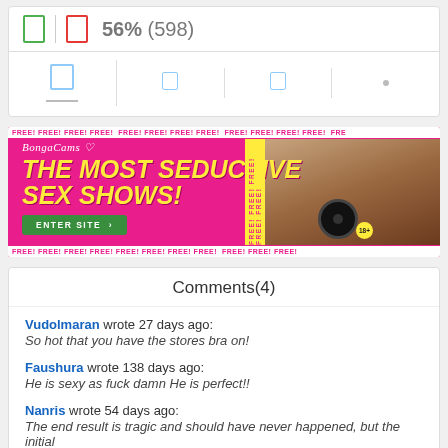[Figure (screenshot): Rating row with thumbs up (green) and thumbs down (red) icons, separator, and text '56% (598)']
[Figure (screenshot): Action icons row with four cells separated by vertical dividers]
[Figure (advertisement): BongaCams ad banner with pink background, yellow headline 'THE MOST SEDUCTIVE SEX SHOWS!', green enter site button, FREE text borders, and photo]
Comments(4)
Vudolmaran wrote 27 days ago:
So hot that you have the stores bra on!
Faushura wrote 138 days ago:
He is sexy as fuck damn He is perfect!!
Nanris wrote 54 days ago:
The end result is tragic and should have never happened, but the initial